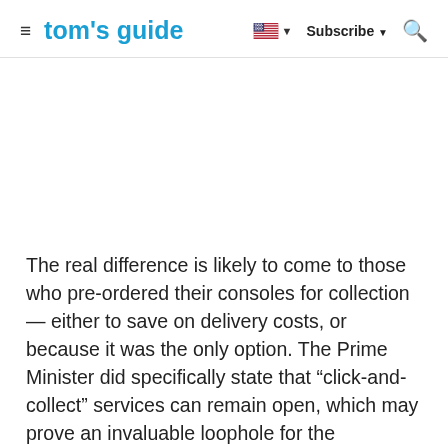tom's guide  |  Subscribe  |  Search
The real difference is likely to come to those who pre-ordered their consoles for collection — either to save on delivery costs, or because it was the only option. The Prime Minister did specifically state that “click-and-collect” services can remain open, which may prove an invaluable loophole for the consoles. But it’s